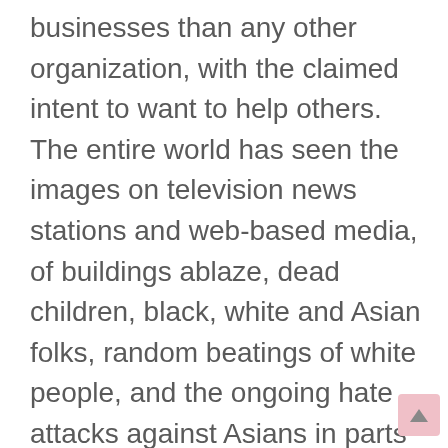businesses than any other organization, with the claimed intent to want to help others. The entire world has seen the images on television news stations and web-based media, of buildings ablaze, dead children, black, white and Asian folks, random beatings of white people, and the ongoing hate attacks against Asians in parts of America. They claim “White supremacy” are responsible for these attacks, deaths and destruction, yet the vast majority of the events are witnessed as being carried out by non-white-non-Asian folks. (Lord forbid I dare